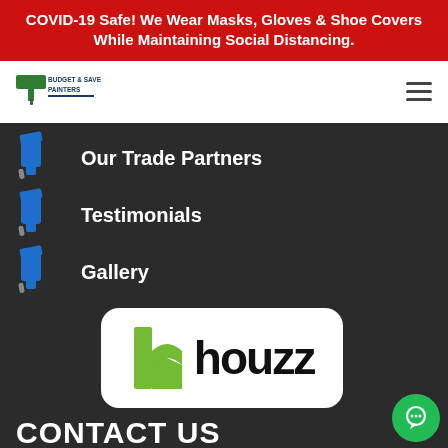COVID-19 Safe! We Wear Masks, Gloves & Shoe Covers While Maintaining Social Distancing.
[Figure (logo): Budget & Save Painters logo in white navigation bar]
Our Trade Partners
Testimonials
Gallery
[Figure (logo): Houzz logo badge — green h icon followed by 'houzz' in black text on white rounded rectangle]
CONTACT US
Open 7 days a week